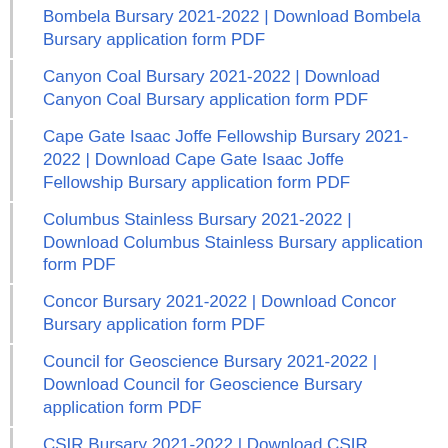Bombela Bursary 2021-2022 | Download Bombela Bursary application form PDF
Canyon Coal Bursary 2021-2022 | Download Canyon Coal Bursary application form PDF
Cape Gate Isaac Joffe Fellowship Bursary 2021-2022 | Download Cape Gate Isaac Joffe Fellowship Bursary application form PDF
Columbus Stainless Bursary 2021-2022 | Download Columbus Stainless Bursary application form PDF
Concor Bursary 2021-2022 | Download Concor Bursary application form PDF
Council for Geoscience Bursary 2021-2022 | Download Council for Geoscience Bursary application form PDF
CSIR Bursary 2021-2022 | Download CSIR Bursary application form PDF
De Beers Bursary 2021-2022 | Download De